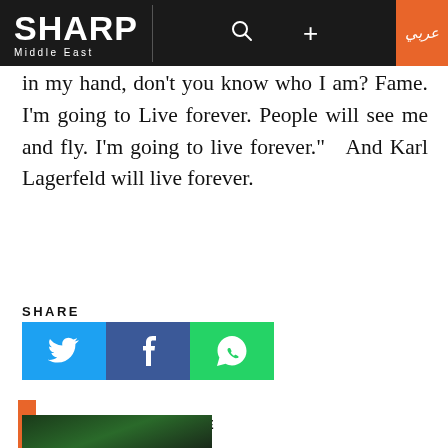SHARP Middle East
in my hand, don’t you know who I am? Fame. I’m going to Live forever. People will see me and fly. I’m going to live forever.”   And Karl Lagerfeld will live forever.
SHARE
[Figure (infographic): Three social share buttons: Twitter (blue bird icon), Facebook (blue F icon), WhatsApp (green phone icon)]
YOU MAY ALSO LIKE
[Figure (photo): Thumbnail photo of performers on stage with green lighting]